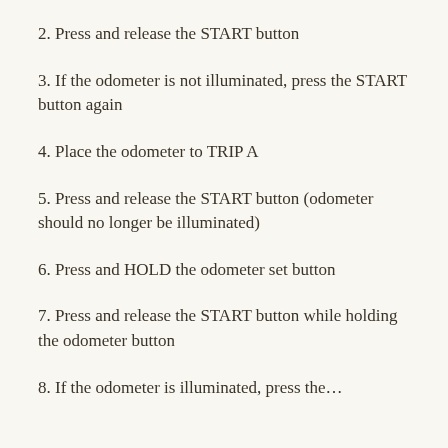2. Press and release the START button
3. If the odometer is not illuminated, press the START button again
4. Place the odometer to TRIP A
5. Press and release the START button (odometer should no longer be illuminated)
6. Press and HOLD the odometer set button
7. Press and release the START button while holding the odometer button
8. If the odometer is illuminated, press the...